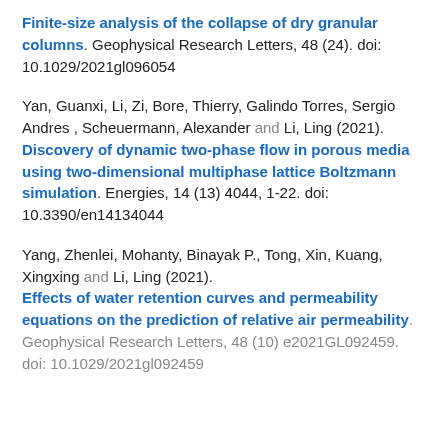Finite-size analysis of the collapse of dry granular columns. Geophysical Research Letters, 48 (24). doi: 10.1029/2021gl096054
Yan, Guanxi, Li, Zi, Bore, Thierry, Galindo Torres, Sergio Andres , Scheuermann, Alexander and Li, Ling (2021). Discovery of dynamic two-phase flow in porous media using two-dimensional multiphase lattice Boltzmann simulation. Energies, 14 (13) 4044, 1-22. doi: 10.3390/en14134044
Yang, Zhenlei, Mohanty, Binayak P., Tong, Xin, Kuang, Xingxing and Li, Ling (2021). Effects of water retention curves and permeability equations on the prediction of relative air permeability. Geophysical Research Letters, 48 (10) e2021GL092459. doi: 10.1029/2021gl092459